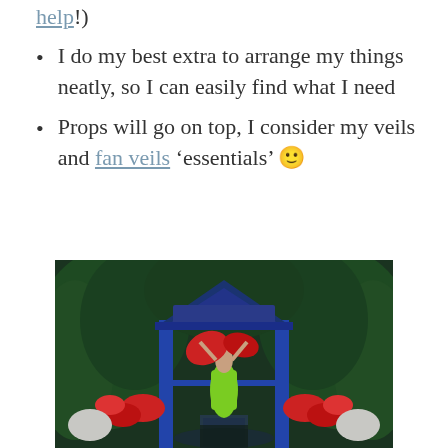help!)
I do my best extra to arrange my things neatly, so I can easily find what I need
Props will go on top, I consider my veils and fan veils 'essentials' 🙂
[Figure (photo): A belly dancer in a bright green dress holding a red fan veil, standing in a blue garden pergola surrounded by lush green hedges and red flowers, with a reflective path leading to the structure.]